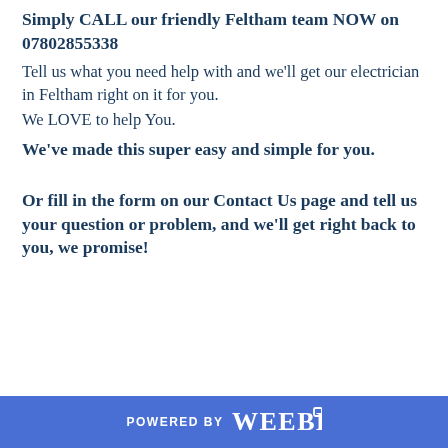Simply CALL our friendly Feltham team NOW on 07802855338
Tell us what you need help with and we'll get our electrician in Feltham right on it for you.
We LOVE to help You.
We've made this super easy and simple for you.
Or fill in the form on our Contact Us page and tell us your question or problem, and we'll get right back to you, we promise!
POWERED BY weebly